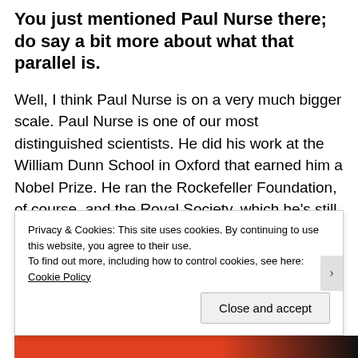You just mentioned Paul Nurse there; do say a bit more about what that parallel is.
Well, I think Paul Nurse is on a very much bigger scale. Paul Nurse is one of our most distinguished scientists. He did his work at the William Dunn School in Oxford that earned him a Nobel Prize. He ran the Rockefeller Foundation, of course, and the Royal Society, which he's still at. He's a brilliant administrator. Now he's the custodian and leader of the Crick Institute here in London. This is blue sky thinking and the objectives of it are to discover new and better drugs for whatever
Privacy & Cookies: This site uses cookies. By continuing to use this website, you agree to their use.
To find out more, including how to control cookies, see here: Cookie Policy